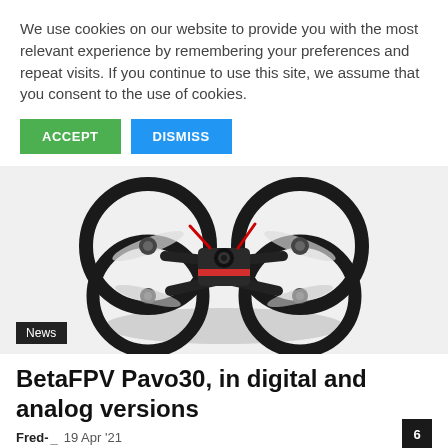We use cookies on our website to provide you with the most relevant experience by remembering your preferences and repeat visits. If you continue to use this site, we assume that you consent to the use of cookies.
ACCEPT
DISMISS
[Figure (photo): FPV drone (BetaFPV Pavo30) with circular prop guards, black and red color scheme, viewed from above at an angle]
News
BetaFPV Pavo30, in digital and analog versions
Fred-   19 Apr '21
6